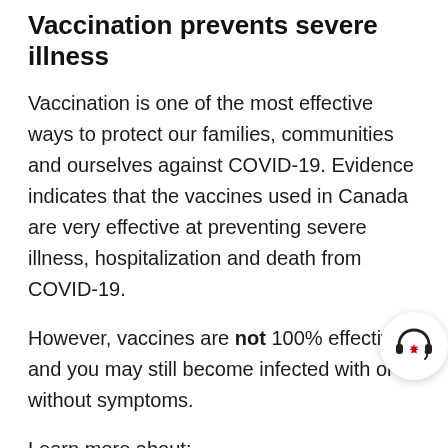Vaccination prevents severe illness
Vaccination is one of the most effective ways to protect our families, communities and ourselves against COVID-19. Evidence indicates that the vaccines used in Canada are very effective at preventing severe illness, hospitalization and death from COVID-19.
However, vaccines are not 100% effective and you may still become infected with or without symptoms.
Learn more about:
Vaccines for COVID-19: How to get